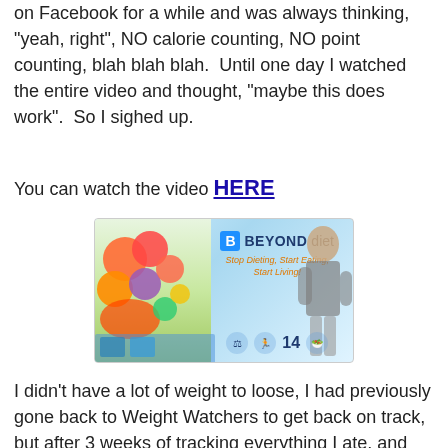on Facebook for a while and was always thinking, "yeah, right", NO calorie counting, NO point counting, blah blah blah.  Until one day I watched the entire video and thought, "maybe this does work".  So I sighed up.
You can watch the video HERE
[Figure (illustration): Beyond Diet advertisement banner: colorful fruits on the left, Beyond Diet logo with tagline 'Stop Dieting, Start Eating, Start Living!' in center, woman with arms crossed on the right, icons at the bottom]
I didn't have a lot of weight to loose, I had previously gone back to Weight Watchers to get back on track, but after 3 weeks of tracking everything I ate, and gaining .4 the first week and remaining the same weight the next two times, I decided, I didn't have anything to loose. (now, don't get me wrong, WW is a FABULOUS program and I lost 30 pounds 6